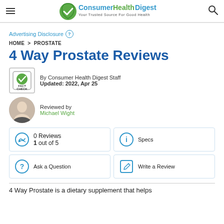Consumer Health Digest — Your Trusted Source For Good Health
Advertising Disclosure
HOME > PROSTATE
4 Way Prostate Reviews
By Consumer Health Digest Staff
Updated: 2022, Apr 25
Reviewed by
Michael Wight
0 Reviews
1 out of 5
Specs
Ask a Question
Write a Review
4 Way Prostate is a dietary supplement that helps